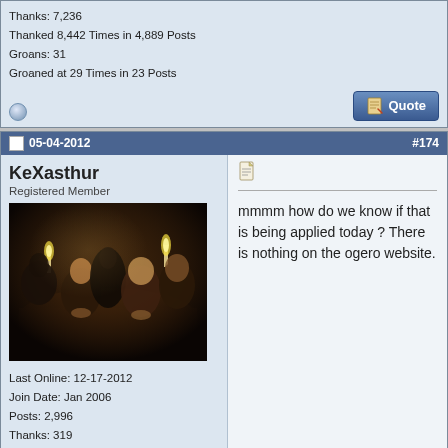Thanks: 7,236
Thanked 8,442 Times in 4,889 Posts
Groans: 31
Groaned at 29 Times in 23 Posts
05-04-2012
#174
KeXasthur
Registered Member
[Figure (photo): Dark atmospheric illustration showing several figures seated around a table with candles]
Last Online: 12-17-2012
Join Date: Jan 2006
Posts: 2,996
Thanks: 319
Thanked 1,119 Times in 872 Posts
Groans: 1
Groaned at 6 Times in 6 Posts
mmmm how do we know if that is being applied today ? There is nothing on the ogero website.
Share